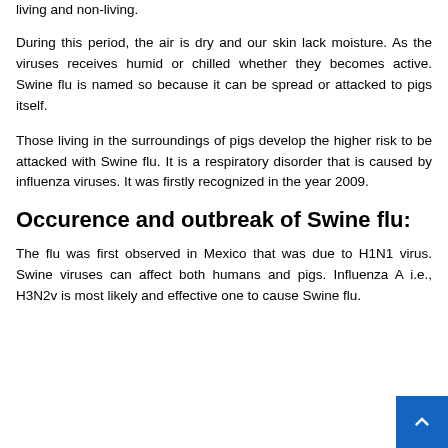living and non-living.
During this period, the air is dry and our skin lack moisture. As the viruses receives humid or chilled whether they becomes active. Swine flu is named so because it can be spread or attacked to pigs itself.
Those living in the surroundings of pigs develop the higher risk to be attacked with Swine flu. It is a respiratory disorder that is caused by influenza viruses. It was firstly recognized in the year 2009.
Occurence and outbreak of Swine flu:
The flu was first observed in Mexico that was due to H1N1 virus. Swine viruses can affect both humans and pigs. Influenza A i.e., H3N2v is most likely and effective one to cause Swine flu.